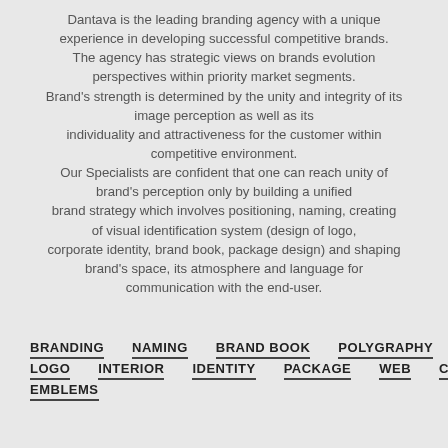Dantava is the leading branding agency with a unique experience in developing successful competitive brands. The agency has strategic views on brands evolution perspectives within priority market segments. Brand's strength is determined by the unity and integrity of its image perception as well as its individuality and attractiveness for the customer within competitive environment. Our Specialists are confident that one can reach unity of brand's perception only by building a unified brand strategy which involves positioning, naming, creating of visual identification system (design of logo, corporate identity, brand book, package design) and shaping brand's space, its atmosphere and language for communication with the end-user.
BRANDING
NAMING
BRAND BOOK
POLYGRAPHY
LOGO
INTERIOR
IDENTITY
PACKAGE
WEB
CAR
EMBLEMS